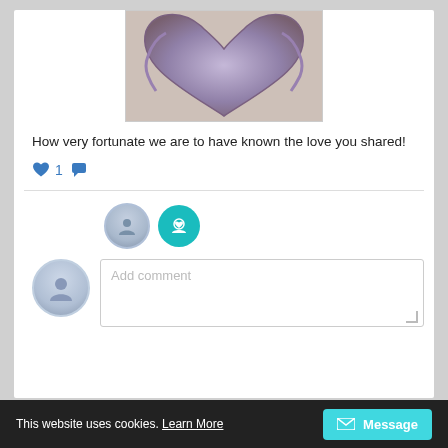[Figure (photo): Partial view of a fabric or textile heart shape in purple/mauve tones on a light beige background]
How very fortunate we are to have known the love you shared!
♥ 1 💬
[Figure (infographic): Two circular avatar icons: a gray generic user silhouette and a teal circle with a heart/care symbol]
[Figure (infographic): Comment input area with gray avatar and 'Add comment' placeholder text box]
This website uses cookies. Learn More
Message